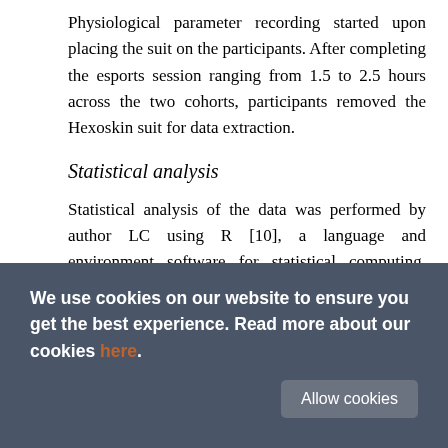Physiological parameter recording started upon placing the suit on the participants. After completing the esports session ranging from 1.5 to 2.5 hours across the two cohorts, participants removed the Hexoskin suit for data extraction.
Statistical analysis
Statistical analysis of the data was performed by author LC using R [10], a language and environment software for statistical computing. Recordings associated with HR and RR were accompanied with the quality measurements q hr /q rr respectively, which take
We use cookies on our website to ensure you get the best experience. Read more about our cookies here. Allow cookies